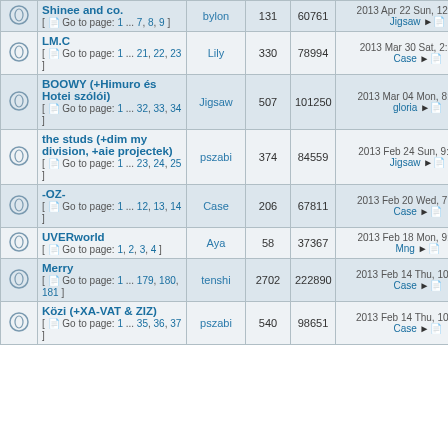|  | Topic | Author | Replies | Views | Last Post |
| --- | --- | --- | --- | --- | --- |
|  | Shinee and co.
[ Go to page: 1 ... 7, 8, 9 ] | bylon | 131 | 60761 | 2013 Apr 22 Sun, 12:17 pm
Jigsaw → |
|  | LM.C
[ Go to page: 1 ... 21, 22, 23 ] | Lily | 330 | 78994 | 2013 Mar 30 Sat, 2:35 pm
Case → |
|  | BOOWY (+Himuro és Hotei szólói)
[ Go to page: 1 ... 32, 33, 34 ] | Jigsaw | 507 | 101250 | 2013 Mar 04 Mon, 8:13 am
gloria → |
|  | the studs (+dim my division, +aie projectek)
[ Go to page: 1 ... 23, 24, 25 ] | pszabi | 374 | 84559 | 2013 Feb 24 Sun, 9:40 am
Jigsaw → |
|  | -OZ-
[ Go to page: 1 ... 12, 13, 14 ] | Case | 206 | 67811 | 2013 Feb 20 Wed, 7:43 pm
Case → |
|  | UVERworld
[ Go to page: 1, 2, 3, 4 ] | Aya | 58 | 37367 | 2013 Feb 18 Mon, 9:25 pm
Mng → |
|  | Merry
[ Go to page: 1 ... 179, 180, 181 ] | tenshi | 2702 | 222890 | 2013 Feb 14 Thu, 10:25 pm
Case → |
|  | Közi (+XA-VAT & ZIZ)
[ Go to page: 1 ... 35, 36, 37 ] | pszabi | 540 | 98651 | 2013 Feb 14 Thu, 10:03 pm
Case → |